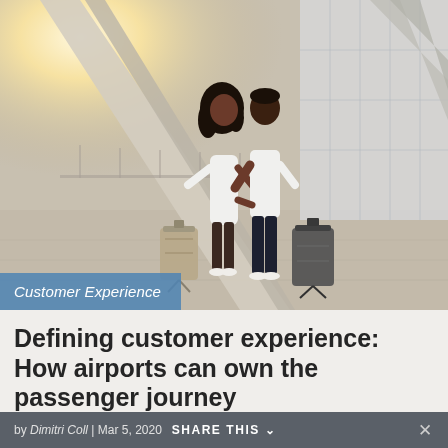[Figure (photo): Two people (a couple) standing with their backs to the camera in a modern airport terminal, looking out at large glass windows. The woman has long curly hair and is wearing a white dress, the man wears a white shirt and dark jeans. Each has a suitcase beside them. The terminal interior shows large diagonal structural beams and bright natural light.]
Customer Experience
Defining customer experience: How airports can own the passenger journey
by Dimitri Coll  |  Mar 5, 2020    SHARE THIS  ×